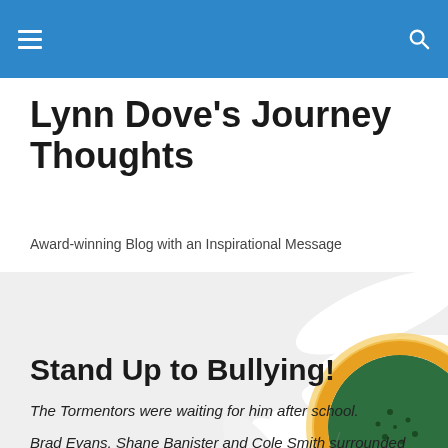Lynn Dove's Journey Thoughts — site navigation header
Lynn Dove's Journey Thoughts
Award-winning Blog with an Inspirational Message
[Figure (photo): Close-up photo of a daisy flower showing white petals and a yellow-green center, on a white background.]
Stand Up to Bullying!
The Tormentors were waiting for him after school.
Brad Evans, Shane Banister and Cole Smith surrounded